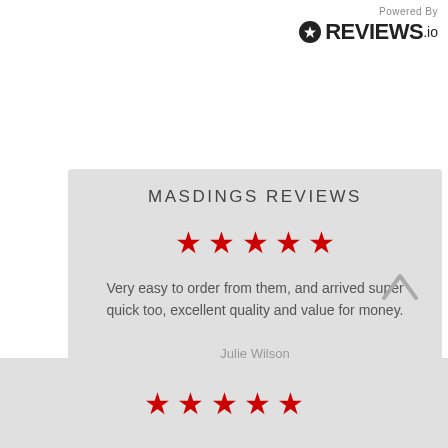[Figure (logo): Powered by REVIEWS.io logo in top right corner]
MASDINGS REVIEWS
[Figure (other): 5 red stars rating]
Very easy to order from them, and arrived super quick too, excellent quality and value for money.
Julie Wilson
16 hours ago
[Figure (other): 5 red stars rating in bottom section]